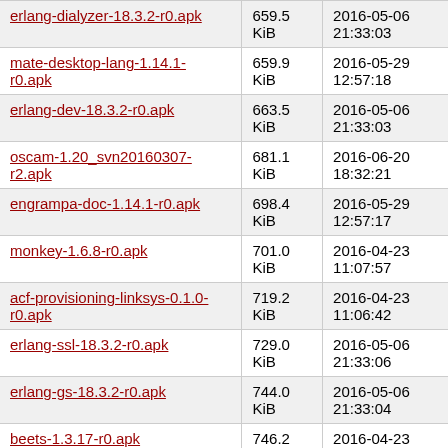| Filename | Size | Date |
| --- | --- | --- |
| erlang-dialyzer-18.3.2-r0.apk | 659.5 KiB | 2016-05-06 21:33:03 |
| mate-desktop-lang-1.14.1-r0.apk | 659.9 KiB | 2016-05-29 12:57:18 |
| erlang-dev-18.3.2-r0.apk | 663.5 KiB | 2016-05-06 21:33:03 |
| oscam-1.20_svn20160307-r2.apk | 681.1 KiB | 2016-06-20 18:32:21 |
| engrampa-doc-1.14.1-r0.apk | 698.4 KiB | 2016-05-29 12:57:17 |
| monkey-1.6.8-r0.apk | 701.0 KiB | 2016-04-23 11:07:57 |
| acf-provisioning-linksys-0.1.0-r0.apk | 719.2 KiB | 2016-04-23 11:06:42 |
| erlang-ssl-18.3.2-r0.apk | 729.0 KiB | 2016-05-06 21:33:06 |
| erlang-gs-18.3.2-r0.apk | 744.0 KiB | 2016-05-06 21:33:04 |
| beets-1.3.17-r0.apk | 746.2 KiB | 2016-04-23 11:07:06 |
| erlang-diameter-18.3.2-r0.apk | 756.6 KiB | 2016-05-06 21:33:04 |